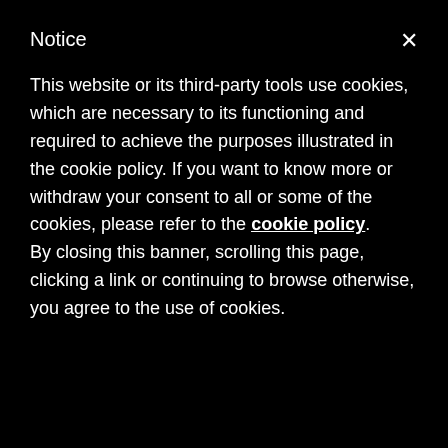Notice
This website or its third-party tools use cookies, which are necessary to its functioning and required to achieve the purposes illustrated in the cookie policy. If you want to know more or withdraw your consent to all or some of the cookies, please refer to the cookie policy. By closing this banner, scrolling this page, clicking a link or continuing to browse otherwise, you agree to the use of cookies.
Gender East, and Transcending Boundaries conferences.
RECENT POSTS
A Family Portrait – Whatever Wednesdays. Random